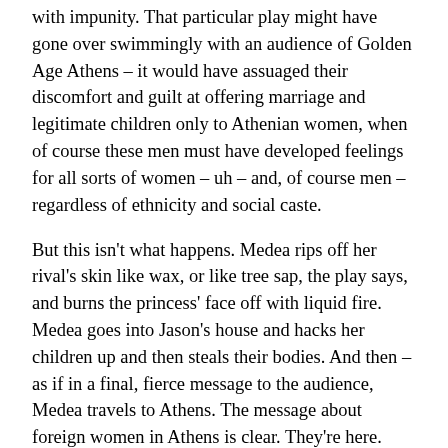with impunity. That particular play might have gone over swimmingly with an audience of Golden Age Athens – it would have assuaged their discomfort and guilt at offering marriage and legitimate children only to Athenian women, when of course these men must have developed feelings for all sorts of women – uh – and, of course men – regardless of ethnicity and social caste.
But this isn't what happens. Medea rips off her rival's skin like wax, or like tree sap, the play says, and burns the princess' face off with liquid fire. Medea goes into Jason's house and hacks her children up and then steals their bodies. And then – as if in a final, fierce message to the audience, Medea travels to Athens. The message about foreign women in Athens is clear. They're here. They've been here all along. They're not going anywhere. And we can't sweep them under the rug with some hemming and hawing about doing what's best for the kids. If Euripides' audience sat down in the spring of 431 expecting a version of Medea that gently did away with her, as the earlier legends